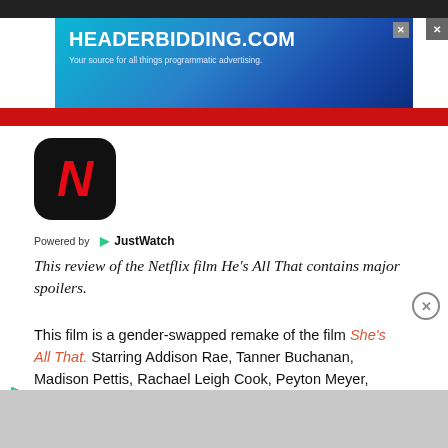[Figure (screenshot): Advertisement banner for headerbidding.com with blue gradient background. Text reads: HEADERBIDDING.COM - Your source for all things programmatic advertising.]
[Figure (logo): Netflix app icon - black rounded square with red italic N letter]
Powered by JustWatch
This review of the Netflix film He’s All That contains major spoilers.
This film is a gender-swapped remake of the film She’s All That. Starring Addison Rae, Tanner Buchanan, Madison Pettis, Rachael Leigh Cook, Peyton Meyer, and Matthew Lillard, this film is a cute, simple, fun watch.
[Figure (photo): Partially visible image at the bottom of the page, grey/neutral toned]